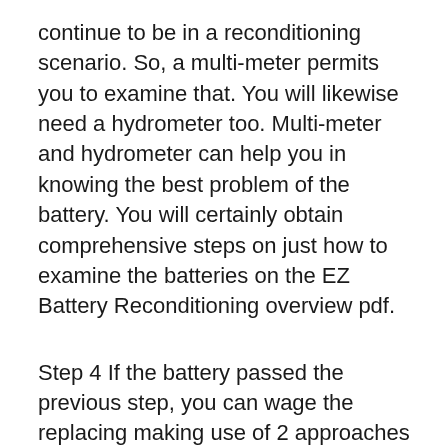continue to be in a reconditioning scenario. So, a multi-meter permits you to examine that. You will likewise need a hydrometer too. Multi-meter and hydrometer can help you in knowing the best problem of the battery. You will certainly obtain comprehensive steps on just how to examine the batteries on the EZ Battery Reconditioning overview pdf.
Step 4 If the battery passed the previous step, you can wage the replacing making use of 2 approaches explained in guide. The very first technique is equalization, and the following one is removing sulfation with the chemical additive. Normally, sulfation occurs from the reaction between lead and also sulfuric acid. Both approaches are used to